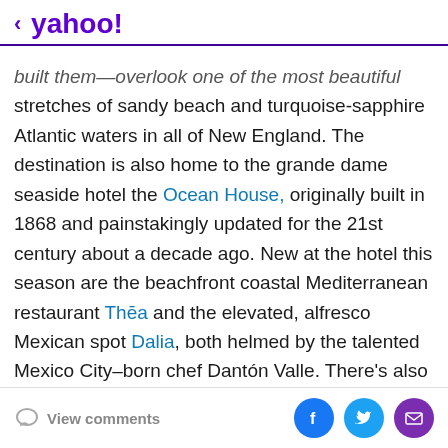< yahoo!
built them—overlook one of the most beautiful stretches of sandy beach and turquoise-sapphire Atlantic waters in all of New England. The destination is also home to the grande dame seaside hotel the Ocean House, originally built in 1868 and painstakingly updated for the 21st century about a decade ago. New at the hotel this season are the beachfront coastal Mediterranean restaurant Thēa and the elevated, alfresco Mexican spot Dalia, both helmed by the talented Mexico City–born chef Dantón Valle. There's also new breakfast service in the secret garden of the pop-up Champagne bar and a just-opened garden terrace serving afternoon tea and Sipsmith Gin cocktails with floral
View comments  [Facebook] [Twitter] [Email]